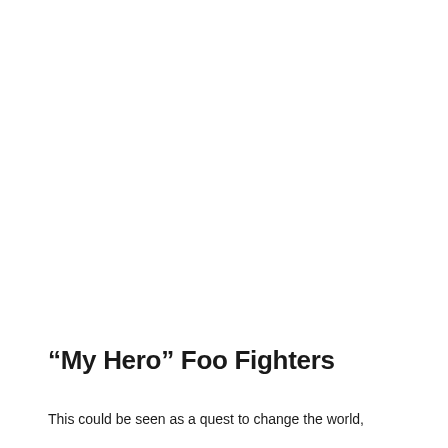“My Hero” Foo Fighters
This could be seen as a quest to change the world,